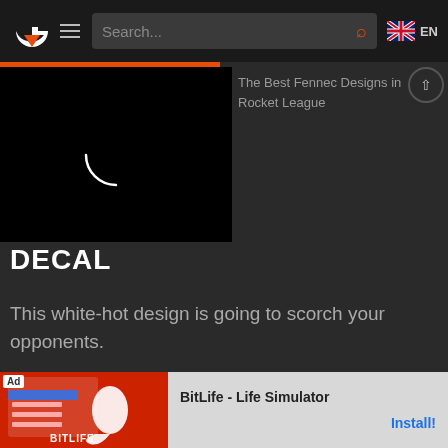Search... EN
[Figure (screenshot): Black video thumbnail with white loading spinner arc]
The Best Fennec Designs in Rocket League
DECAL
This white-hot design is going to scorch your opponents.
[Figure (infographic): BitLife - Life Simulator advertisement banner with red background and sperm logo. Install button shown.]